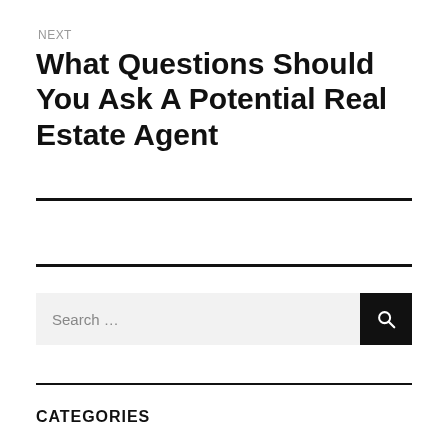NEXT
What Questions Should You Ask A Potential Real Estate Agent
Search …
CATEGORIES